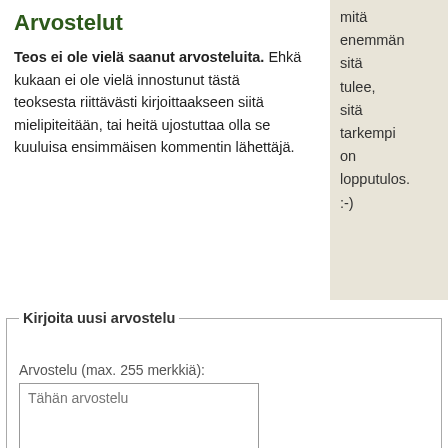Arvostelut
Teos ei ole vielä saanut arvosteluita. Ehkä kukaan ei ole vielä innostunut tästä teoksesta riittävästi kirjoittaakseen siitä mielipiteitään, tai heitä ujostuttaa olla se kuuluisa ensimmäisen kommentin lähettäjä.
mitä enemmän sitä tulee, sitä tarkempi on lopputulos. :-)
Kirjoita uusi arvostelu
Arvostelu (max. 255 merkkiä):
Tähän arvostelu
HTML ei ole